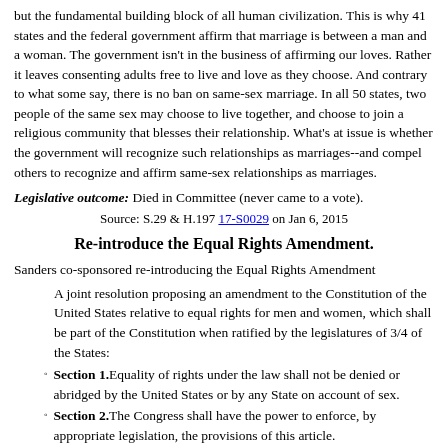but the fundamental building block of all human civilization. This is why 41 states and the federal government affirm that marriage is between a man and a woman. The government isn't in the business of affirming our loves. Rather it leaves consenting adults free to live and love as they choose. And contrary to what some say, there is no ban on same-sex marriage. In all 50 states, two people of the same sex may choose to live together, and choose to join a religious community that blesses their relationship. What's at issue is whether the government will recognize such relationships as marriages--and compel others to recognize and affirm same-sex relationships as marriages.
Legislative outcome: Died in Committee (never came to a vote).
Source: S.29 & H.197 17-S0029 on Jan 6, 2015
Re-introduce the Equal Rights Amendment.
Sanders co-sponsored re-introducing the Equal Rights Amendment
A joint resolution proposing an amendment to the Constitution of the United States relative to equal rights for men and women, which shall be part of the Constitution when ratified by the legislatures of 3/4 of the States:
Section 1. Equality of rights under the law shall not be denied or abridged by the United States or by any State on account of sex.
Section 2. The Congress shall have the power to enforce, by appropriate legislation, the provisions of this article.
Section 3. This article shall take effect 2 years after the date of ratification.
Sen. KENNEDY. "It's a privilege to join my colleagues in reintroducing the Equal Rights Amendment to the Constitution. The ERA is essential to guarantee that the freedoms protected by our Constitution apply equally to men and women. From the beginning of our history as a Nation, women have had to wage a constant, long and difficult battle to win the same